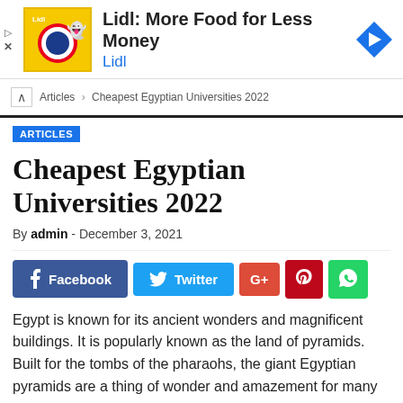[Figure (screenshot): Lidl advertisement banner: yellow logo box with Lidl branding, text 'Lidl: More Food for Less Money' and 'Lidl' in blue, blue navigation arrow icon on right]
Articles › Cheapest Egyptian Universities 2022
ARTICLES
Cheapest Egyptian Universities 2022
By admin - December 3, 2021
[Figure (screenshot): Social sharing buttons: Facebook (dark blue), Twitter (light blue), G+ (red-orange), Pinterest (dark red), WhatsApp (green)]
Egypt is known for its ancient wonders and magnificent buildings. It is popularly known as the land of pyramids. Built for the tombs of the pharaohs, the giant Egyptian pyramids are a thing of wonder and amazement for many tourists. Even though it is a great place to go if you are a tourist, the education fees of Egypt are quite high for